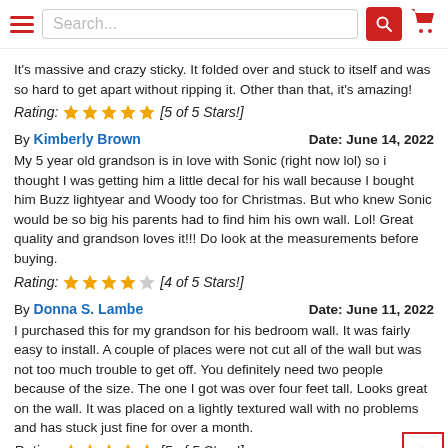[Search bar with hamburger menu and cart icon]
It's massive and crazy sticky. It folded over and stuck to itself and was so hard to get apart without ripping it. Other than that, it's amazing!
Rating: [5 of 5 Stars!]
By Kimberly Brown   Date: June 14, 2022
My 5 year old grandson is in love with Sonic (right now lol) so i thought I was getting him a little decal for his wall because I bought him Buzz lightyear and Woody too for Christmas. But who knew Sonic would be so big his parents had to find him his own wall. Lol! Great quality and grandson loves it!!! Do look at the measurements before buying.
Rating: [4 of 5 Stars!]
By Donna S. Lambe   Date: June 11, 2022
I purchased this for my grandson for his bedroom wall. It was fairly easy to install. A couple of places were not cut all of the wall but was not too much trouble to get off. You definitely need two people because of the size. The one I got was over four feet tall. Looks great on the wall. It was placed on a lightly textured wall with no problems and has stuck just fine for over a month.
Rating: [5 of 5 Stars!]